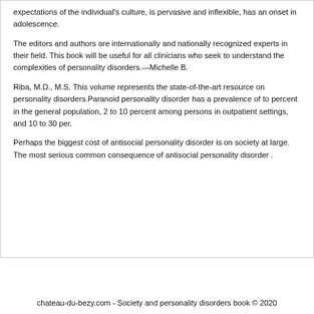expectations of the individual's culture, is pervasive and inflexible, has an onset in adolescence.
The editors and authors are internationally and nationally recognized experts in their field. This book will be useful for all clinicians who seek to understand the complexities of personality disorders.—Michelle B.
Riba, M.D., M.S. This volume represents the state-of-the-art resource on personality disorders.Paranoid personality disorder has a prevalence of to percent in the general population, 2 to 10 percent among persons in outpatient settings, and 10 to 30 per.
Perhaps the biggest cost of antisocial personality disorder is on society at large. The most serious common consequence of antisocial personality disorder .
chateau-du-bezy.com - Society and personality disorders book © 2020